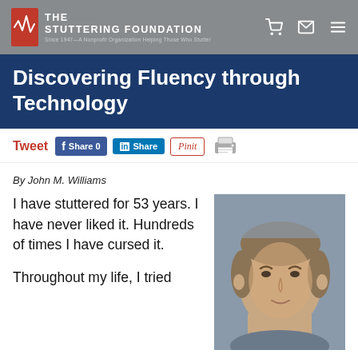The Stuttering Foundation — Since 1947, A Nonprofit Organization Helping Those Who Stutter
Discovering Fluency through Technology
Tweet  Share 0  Share  Pin it  [print]
By John M. Williams
I have stuttered for 53 years. I have never liked it. Hundreds of times I have cursed it.
[Figure (photo): Headshot photo of John M. Williams, a middle-aged man with gray-brown hair, against a gray background.]
Throughout my life, I tried